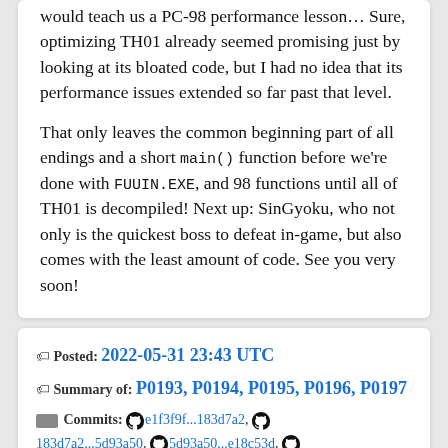would teach us a PC-98 performance lesson… Sure, optimizing TH01 already seemed promising just by looking at its bloated code, but I had no idea that its performance issues extended so far past that level.
That only leaves the common beginning part of all endings and a short main() function before we're done with FUUIN.EXE, and 98 functions until all of TH01 is decompiled! Next up: SinGyoku, who not only is the quickest boss to defeat in-game, but also comes with the least amount of code. See you very soon!
Posted: 2022-05-31 23:43 UTC
Summary of: P0193, P0194, P0195, P0196, P0197
Commits: e1f3f9f...183d7a2, 183d7a2...5d93a50, 5d93a50...e18c53d, e18c53d...57c9ac5, 57c9ac5...48db9b7